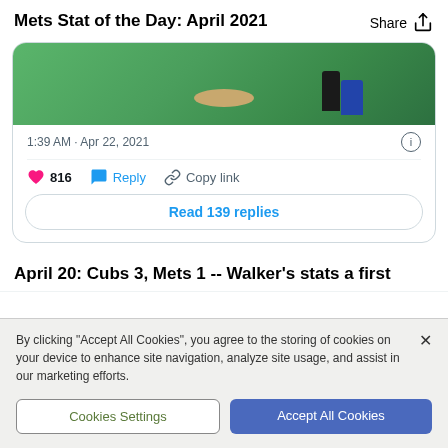Mets Stat of the Day: April 2021
[Figure (photo): Baseball field photo showing pitcher's mound area with figures in dark and blue uniforms]
1:39 AM · Apr 22, 2021
816  Reply  Copy link
Read 139 replies
April 20: Cubs 3, Mets 1 -- Walker's stats a first
By clicking "Accept All Cookies", you agree to the storing of cookies on your device to enhance site navigation, analyze site usage, and assist in our marketing efforts.
Cookies Settings
Accept All Cookies